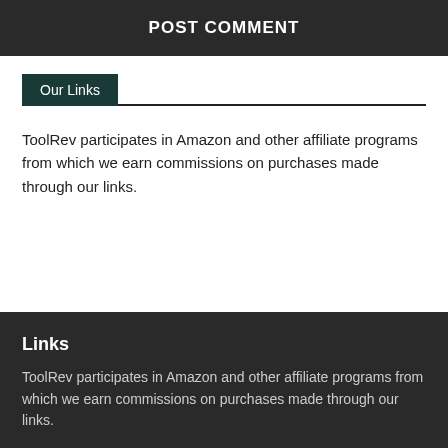POST COMMENT
Our Links
ToolRev participates in Amazon and other affiliate programs from which we earn commissions on purchases made through our links.
Links
ToolRev participates in Amazon and other affiliate programs from which we earn commissions on purchases made through our links.